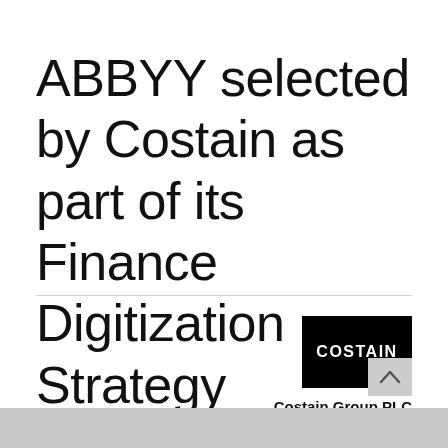ABBYY selected by Costain as part of its Finance Digitization Strategy
[Figure (logo): Costain logo: black rectangle with white bold text 'COSTAIN']
Costain Group PLC
Construction Civil Engineering